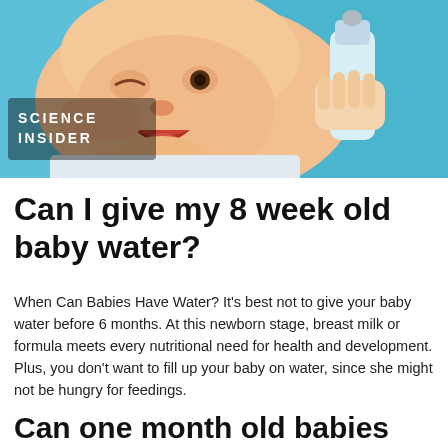[Figure (photo): A crying baby being offered a water bottle, with 'SCIENCE INSIDER' logo overlay on the photo]
Can I give my 8 week old baby water?
When Can Babies Have Water? It's best not to give your baby water before 6 months. At this newborn stage, breast milk or formula meets every nutritional need for health and development. Plus, you don't want to fill up your baby on water, since she might not be hungry for feedings.
Can one month old babies drink water?